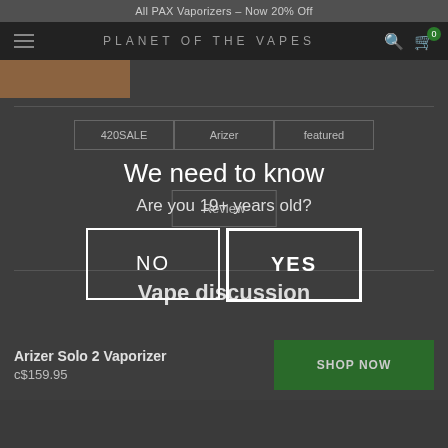All PAX Vaporizers – Now 20% Off
PLANET OF THE VAPES
We need to know
Are you 19+ years old?
420SALE   Arizer   featured
Review
NO
YES
Vape discussion
Arizer Solo 2 Vaporizer
c$159.95
SHOP NOW